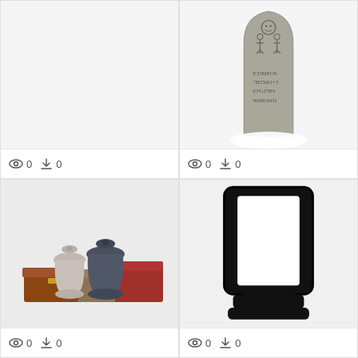[Figure (photo): Empty white/light gray area, no image visible]
👁 0  ⬇ 0
[Figure (illustration): Illustrated gravestone with stick figure carvings and inscribed text, resting on white fluffy base]
👁 0  ⬇ 0
[Figure (photo): Collection of cremation urns and memorial boxes: two ceramic urns (gray and dark blue), and three wooden/lacquer boxes in various sizes and colors]
👁 0  ⬇ 0
[Figure (illustration): Bold black outline illustration of a memorial picture frame on a stand/base, white background inside frame]
👁 0  ⬇ 0